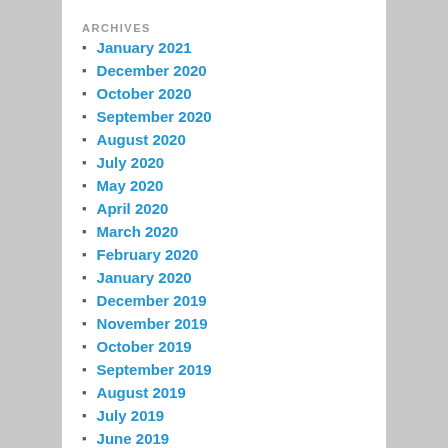ARCHIVES
January 2021
December 2020
October 2020
September 2020
August 2020
July 2020
May 2020
April 2020
March 2020
February 2020
January 2020
December 2019
November 2019
October 2019
September 2019
August 2019
July 2019
June 2019
May 2019
April 2019